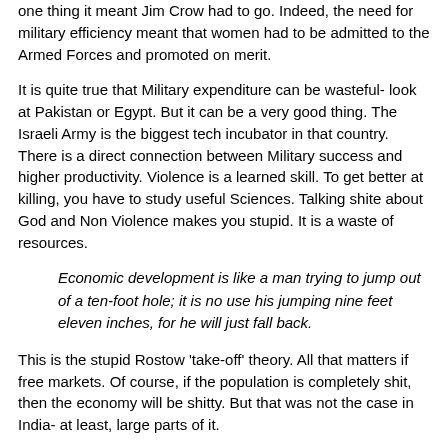one thing it meant Jim Crow had to go. Indeed, the need for military efficiency meant that women had to be admitted to the Armed Forces and promoted on merit.
It is quite true that Military expenditure can be wasteful- look at Pakistan or Egypt. But it can be a very good thing. The Israeli Army is the biggest tech incubator in that country. There is a direct connection between Military success and higher productivity. Violence is a learned skill. To get better at killing, you have to study useful Sciences. Talking shite about God and Non Violence makes you stupid. It is a waste of resources.
Economic development is like a man trying to jump out of a ten-foot hole; it is no use his jumping nine feet eleven inches, for he will just fall back.
This is the stupid Rostow 'take-off' theory. All that matters if free markets. Of course, if the population is completely shit, then the economy will be shitty. But that was not the case in India- at least, large parts of it.